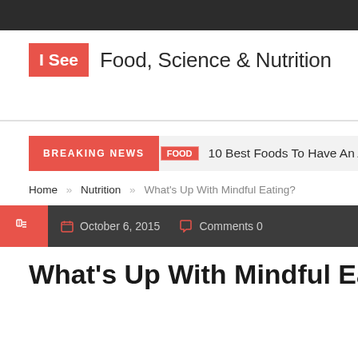I See Food, Science & Nutrition
BREAKING NEWS  FOOD  10 Best Foods To Have An Absolutely Fl...
Home » Nutrition » What's Up With Mindful Eating?
October 6, 2015   Comments 0
What's Up With Mindful Eat...